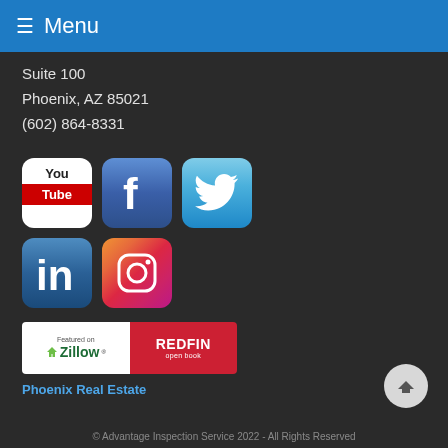≡ Menu
Suite 100
Phoenix, AZ 85021
(602) 864-8331
[Figure (logo): YouTube icon - white rounded square with You/Tube text and red bottom bar]
[Figure (logo): Facebook icon - blue gradient rounded square with white F]
[Figure (logo): Twitter icon - light blue gradient rounded square with white bird]
[Figure (logo): LinkedIn icon - blue gradient rounded square with white 'in' text]
[Figure (logo): Instagram icon - colorful gradient rounded square with camera ring]
[Figure (logo): Featured on Zillow and Redfin open book banner]
Phoenix Real Estate
© Advantage Inspection Service 2022 - All Rights Reserved